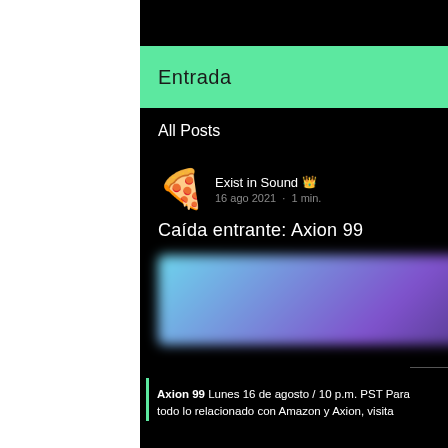Entrada
All Posts
Exist in Sound 👑
16 ago 2021 · 1 min.
Caída entrante: Axion 99
[Figure (photo): Blurred thumbnail image of album or music content]
Axion 99 Lunes 16 de agosto / 10 p.m. PST Para todo lo relacionado con Amazon y Axion, visita